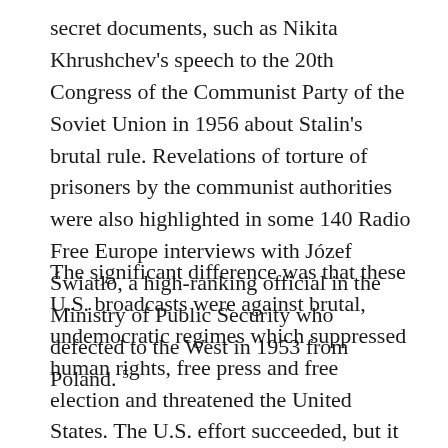secret documents, such as Nikita Khrushchev's speech to the 20th Congress of the Communist Party of the Soviet Union in 1956 about Stalin's brutal rule. Revelations of torture of prisoners by the communist authorities were also highlighted in some 140 Radio Free Europe interviews with Józef Światło, a high-ranking official in the Ministry of Public Security who defected to the West in 1953 from Poland. 5
The significant difference was that these U.S. broadcasts were against brutal, undemocratic regimes which suppressed human rights, free press and free election and threatened the United States. The U.S. effort succeeded, but it took many decades of broadcasting behind the Iron Curtain to break the communist monopoly on information. Putin's Russia is different from the Soviet Union under Stalin or Brezhnev, but it also lacks fully free media and fully democratic politics, and the change was immediate and